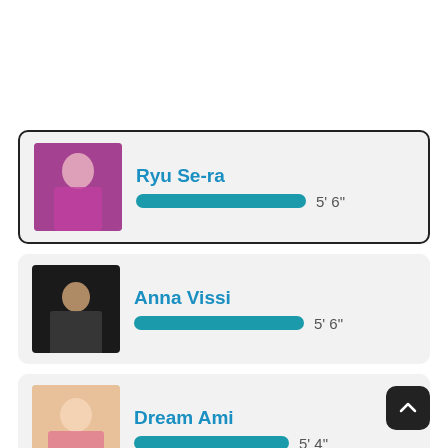[Figure (infographic): List of celebrities with photos, height bars, and measurements. Entry 1: Ryu Se-ra, 5' 6". Entry 2: Anna Vissi, 5' 6". Entry 3: Dream Ami, 5' 4". Entry 4 (partial): unknown.]